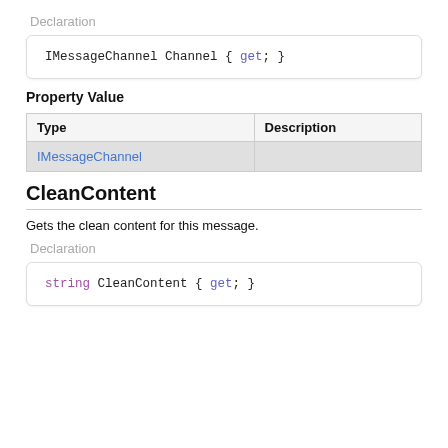Declaration
Property Value
| Type | Description |
| --- | --- |
| IMessageChannel |  |
CleanContent
Gets the clean content for this message.
Declaration